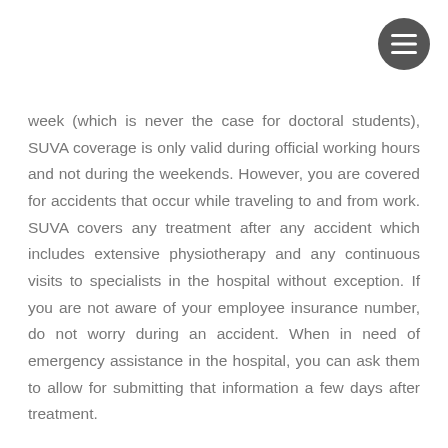week (which is never the case for doctoral students), SUVA coverage is only valid during official working hours and not during the weekends. However, you are covered for accidents that occur while traveling to and from work. SUVA covers any treatment after any accident which includes extensive physiotherapy and any continuous visits to specialists in the hospital without exception. If you are not aware of your employee insurance number, do not worry during an accident. When in need of emergency assistance in the hospital, you can ask them to allow for submitting that information a few days after treatment.